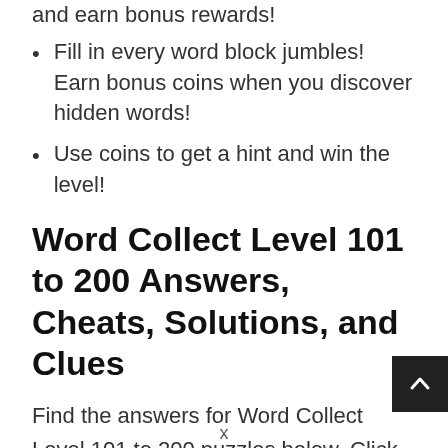and earn bonus rewards!
Fill in every word block jumbles! Earn bonus coins when you discover hidden words!
Use coins to get a hint and win the level!
Word Collect Level 101 to 200 Answers, Cheats, Solutions, and Clues
Find the answers for Word Collect Level 101 to 200 puzzles below. Click on the level at which you're stuck in the game to find answers and